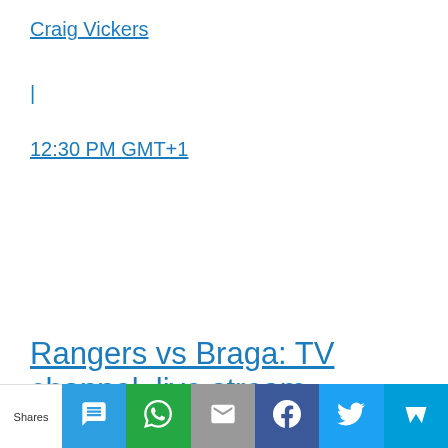Craig Vickers
|
12:30 PM GMT+1
Rangers vs Braga: TV channel, live stream,
Shares | SMS | WhatsApp | Email | Facebook | Twitter | Bookmark